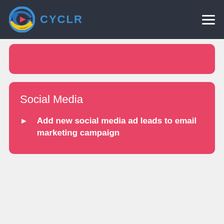CYCLR
[Figure (other): Partially visible red rounded card at top of content area]
Social Media
Add new social media ad leads to email marketing campaign